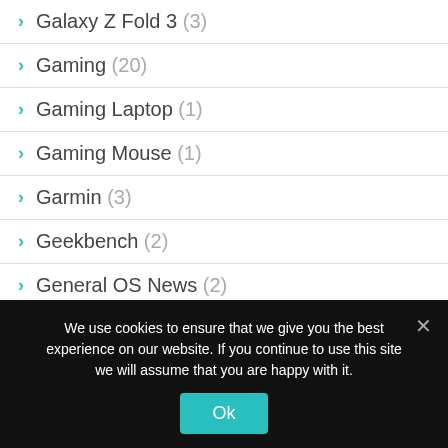Galaxy Z Fold 3 (3)
Gaming (20)
Gaming Laptop (1)
Gaming Mouse (1)
Garmin (3)
Geekbench (2)
General OS News (2)
Google (34)
We use cookies to ensure that we give you the best experience on our website. If you continue to use this site we will assume that you are happy with it.